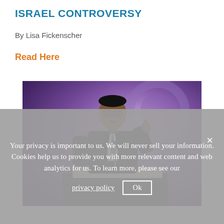ISRAEL CONTROVERSY
By Lisa Fickenscher
Read Here
[Figure (photo): A man in a dark suit speaking at a podium with a microphone, pointing with one finger, against a purple-lit background. An open book is visible on the podium.]
Your privacy is important to us. We will never sell your information. Cookies help us to provide you with more relevant content and web analytics for us. To learn more, please see our privacy policy   Ok